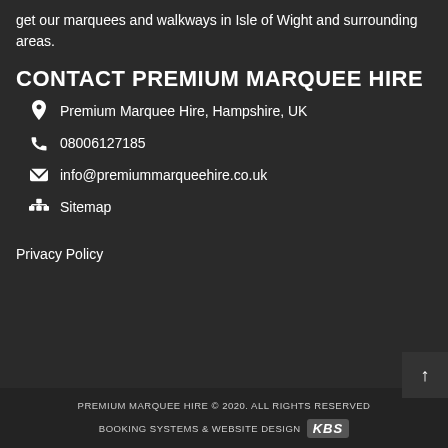get our marquees and walkways in Isle of Wight and surrounding areas.
CONTACT PREMIUM MARQUEE HIRE
Premium Marquee Hire, Hampshire, UK
08006127185
info@premiummarqueehire.co.uk
Sitemap
Privacy Policy
PREMIUM MARQUEE HIRE © 2020. ALL RIGHTS RESERVED
BOOKING SYSTEMS & WEBSITE DESIGN KBS